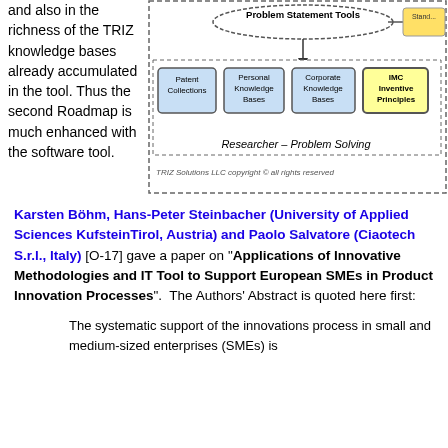and also in the richness of the TRIZ knowledge bases already accumulated in the tool. Thus the second Roadmap is much enhanced with the software tool.
[Figure (schematic): A diagram showing Problem Statement Tools connected to knowledge bases including Patent Collections, Personal Knowledge Bases, Corporate Knowledge Bases, and IMC Inventive Principles, under a 'Researcher – Problem Solving' label. Copyright: TRIZ Solutions LLC copyright © all rights reserved.]
Karsten Böhm, Hans-Peter Steinbacher (University of Applied Sciences KufsteinTirol, Austria) and Paolo Salvatore (Ciaotech S.r.l., Italy) [O-17] gave a paper on "Applications of Innovative Methodologies and IT Tool to Support European SMEs in Product Innovation Processes". The Authors' Abstract is quoted here first:
The systematic support of the innovations process in small and medium-sized enterprises (SMEs) is